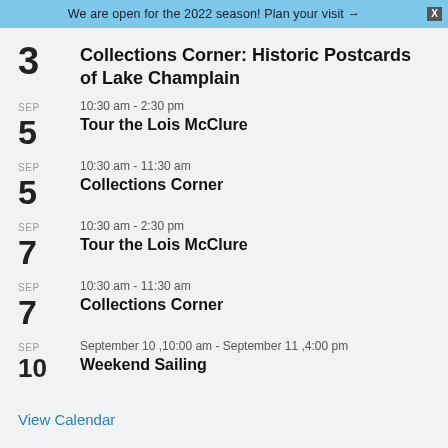We are open for the 2022 season! Plan your visit →
3 Collections Corner: Historic Postcards of Lake Champlain
SEP 5 | 10:30 am - 2:30 pm | Tour the Lois McClure
SEP 5 | 10:30 am - 11:30 am | Collections Corner
SEP 7 | 10:30 am - 2:30 pm | Tour the Lois McClure
SEP 7 | 10:30 am - 11:30 am | Collections Corner
SEP 10 | September 10 ,10:00 am - September 11 ,4:00 pm | Weekend Sailing
View Calendar